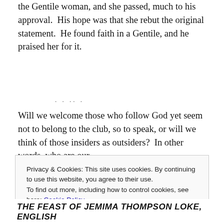the Gentile woman, and she passed, much to his approval.  His hope was that she rebut the original statement.  He found faith in a Gentile, and he praised her for it.
Will we welcome those who follow God yet seem not to belong to the club, so to speak, or will we think of those insiders as outsiders?  In other words, who are our
Privacy & Cookies: This site uses cookies. By continuing to use this website, you agree to their use.
To find out more, including how to control cookies, see here: Cookie Policy
Close and accept
THE FEAST OF JEMIMA THOMPSON LOKE, ENGLISH